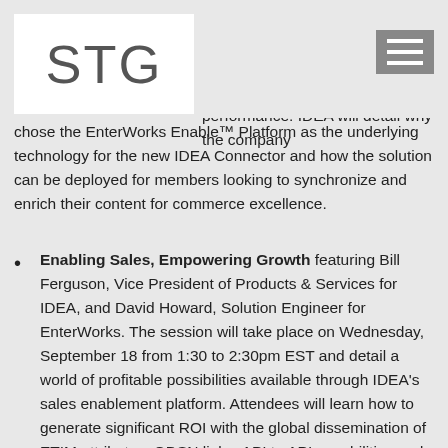STG
Management (MDM) in contributing to our community success and individual member P&E performance. IDEA will detail why the company chose the EnterWorks Enable™ Platform as the underlying technology for the new IDEA Connector and how the solution can be deployed for members looking to synchronize and enrich their content for commerce excellence.
Enabling Sales, Empowering Growth featuring Bill Ferguson, Vice President of Products & Services for IDEA, and David Howard, Solution Engineer for EnterWorks. The session will take place on Wednesday, September 18 from 1:30 to 2:30pm EST and detail a world of profitable possibilities available through IDEA's sales enablement platform. Attendees will learn how to generate significant ROI with the global dissemination of ETIM attributes, GDSN links, API to API capabilities and ecommerce syndication